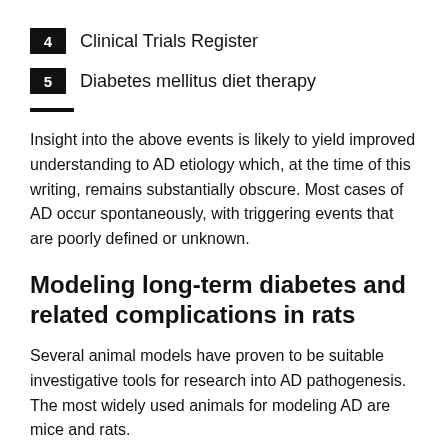4   Clinical Trials Register
5   Diabetes mellitus diet therapy
Insight into the above events is likely to yield improved understanding to AD etiology which, at the time of this writing, remains substantially obscure. Most cases of AD occur spontaneously, with triggering events that are poorly defined or unknown.
Modeling long-term diabetes and related complications in rats
Several animal models have proven to be suitable investigative tools for research into AD pathogenesis. The most widely used animals for modeling AD are mice and rats.